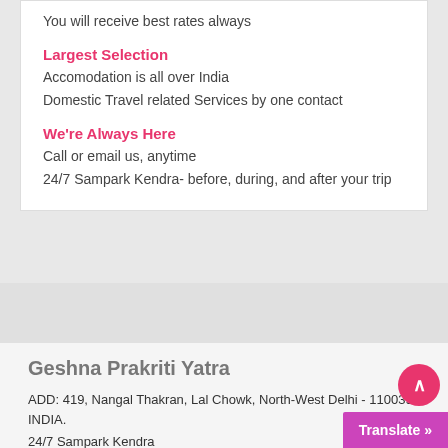Largest Selection
Accomodation is all over India
Domestic Travel related Services by one contact
We're Always Here
Call or email us, anytime
24/7 Sampark Kendra- before, during, and after your trip
Geshna Prakriti Yatra
ADD: 419, Nangal Thakran, Lal Chowk, North-West Delhi - 110039 INDIA.
24/7 Sampark Kendra
TEL: +91-11-27752319
MOB: +91-9354444028, 7982307972, 9654082481